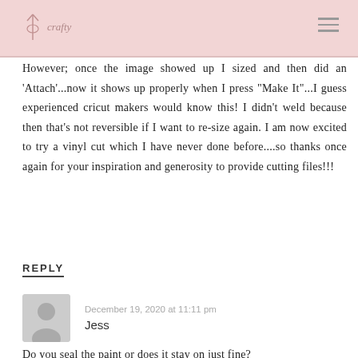crafty [logo with hamburger menu]
However; once the image showed up I sized and then did an 'Attach'...now it shows up properly when I press "Make It"...I guess experienced cricut makers would know this! I didn't weld because then that's not reversible if I want to re-size again. I am now excited to try a vinyl cut which I have never done before....so thanks once again for your inspiration and generosity to provide cutting files!!!
REPLY
December 19, 2020 at 11:11 pm
Jess
Do you seal the paint or does it stay on just fine?